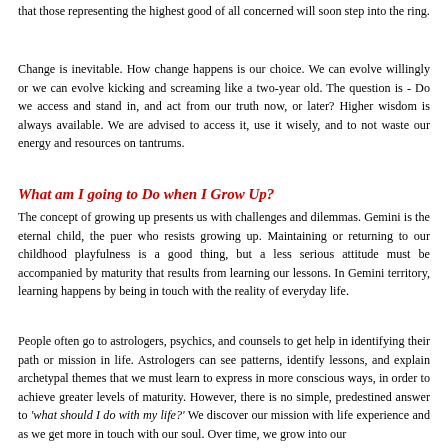that those representing the highest good of all concerned will soon step into the ring.
Change is inevitable. How change happens is our choice. We can evolve willingly or we can evolve kicking and screaming like a two-year old. The question is - Do we access and stand in, and act from our truth now, or later? Higher wisdom is always available. We are advised to access it, use it wisely, and to not waste our energy and resources on tantrums.
What am I going to Do when I Grow Up?
The concept of growing up presents us with challenges and dilemmas. Gemini is the eternal child, the puer who resists growing up. Maintaining or returning to our childhood playfulness is a good thing, but a less serious attitude must be accompanied by maturity that results from learning our lessons. In Gemini territory, learning happens by being in touch with the reality of everyday life.
People often go to astrologers, psychics, and counsels to get help in identifying their path or mission in life. Astrologers can see patterns, identify lessons, and explain archetypal themes that we must learn to express in more conscious ways, in order to achieve greater levels of maturity. However, there is no simple, predestined answer to 'what should I do with my life?' We discover our mission with life experience and as we get more in touch with our soul. Over time, we grow into our